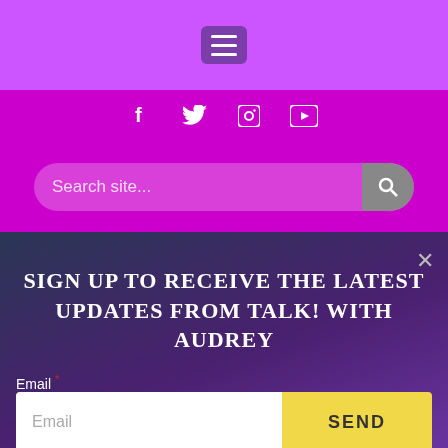[Figure (screenshot): Navigation menu bar with hamburger icon on purple background]
[Figure (screenshot): Social media icons bar (Facebook, Twitter, Instagram, YouTube) on dark purple background]
[Figure (screenshot): Search bar with search icon on dark purple background]
[Figure (photo): Close-up photo of a smiling bearded man outdoors with green foliage background]
SIGN UP TO RECEIVE THE LATEST UPDATES FROM TALK! WITH AUDREY
Email *
Email
SEND